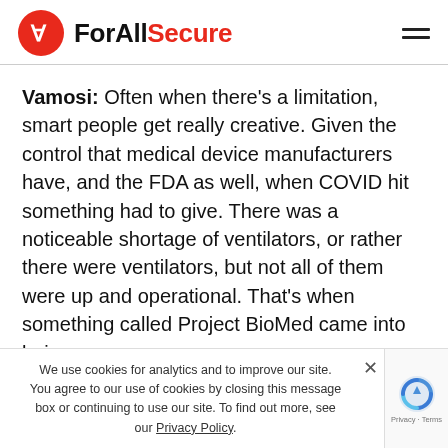ForAllSecure
Vamosi: Often when there’s a limitation, smart people get really creative. Given the control that medical device manufacturers have, and the FDA as well, when COVID hit something had to give. There was a noticeable shortage of ventilators, or rather there were ventilators, but not all of them were up and operational. That’s when something called Project BioMed came into being.
We use cookies for analytics and to improve our site. You agree to our use of cookies by closing this message box or continuing to use our site. To find out more, see our Privacy Policy.